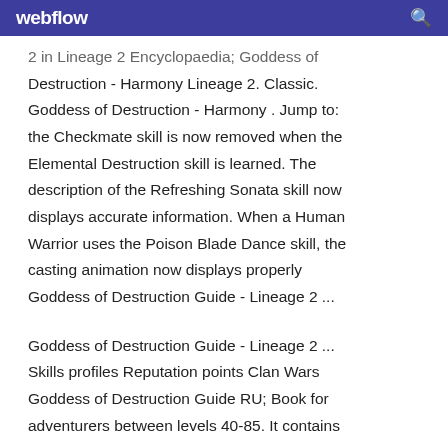webflow
2 in Lineage 2 Encyclopaedia; Goddess of Destruction - Harmony Lineage 2. Classic. Goddess of Destruction - Harmony . Jump to: the Checkmate skill is now removed when the Elemental Destruction skill is learned. The description of the Refreshing Sonata skill now displays accurate information. When a Human Warrior uses the Poison Blade Dance skill, the casting animation now displays properly Goddess of Destruction Guide - Lineage 2 ...
Goddess of Destruction Guide - Lineage 2 ... Skills profiles Reputation points Clan Wars Goddess of Destruction Guide RU; Book for adventurers between levels 40-85. It contains